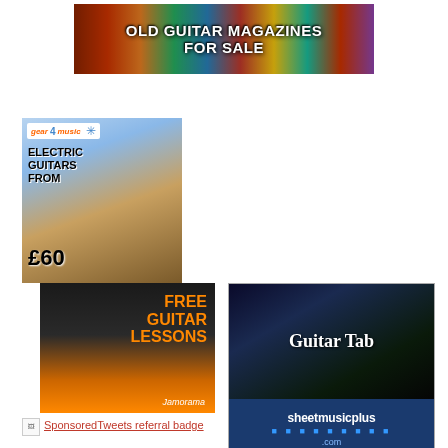[Figure (infographic): Banner ad for Old Guitar Magazines For Sale with colorful magazine cover background]
[Figure (infographic): Gear4music ad: Electric Guitars from £60 with guitar image and blue/orange background]
[Figure (infographic): Jamorama ad: Free Guitar Lessons with cartoon guitarist on dark/orange background]
[Figure (infographic): SheetMusicPlus Guitar Tab ad: 411,000 titles...click here!]
SponsoredTweets referral badge